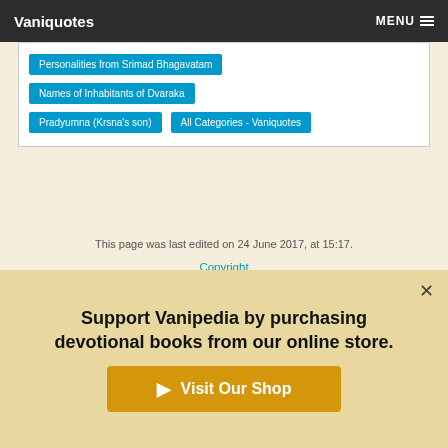Vaniquotes  MENU
Personalities from Srimad Bhagavatam
Names of Inhabitants of Dvaraka
Pradyumna (Krsna's son)
All Categories - Vaniquotes
This page was last edited on 24 June 2017, at 15:17.
Copyright
Privacy policy
About Vaniquotes
Disclaimers
[Figure (logo): Powered by MediaWiki badge]
[Figure (logo): Semantic MediaWiki badge]
Support Vanipedia by purchasing devotional books from our online store.
Visit Our Shop